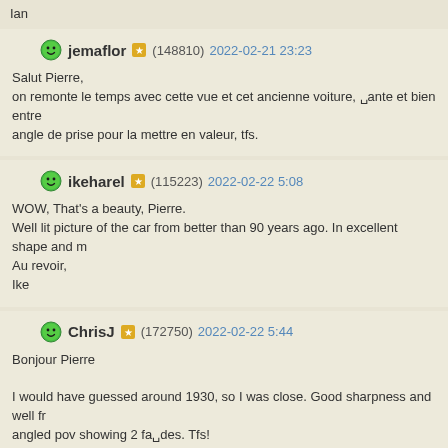Ian
jemaflor (148810) 2022-02-21 23:23
Salut Pierre,
on remonte le temps avec cette vue et cet ancienne voiture, □ante et bien entre angle de prise pour la mettre en valeur, tfs.
ikeharel (115223) 2022-02-22 5:08
WOW, That's a beauty, Pierre.
Well lit picture of the car from better than 90 years ago. In excellent shape and m
Au revoir,
Ike
ChrisJ (172750) 2022-02-22 5:44
Bonjour Pierre

I would have guessed around 1930, so I was close. Good sharpness and well fr angled pov showing 2 fa□des. Tfs!